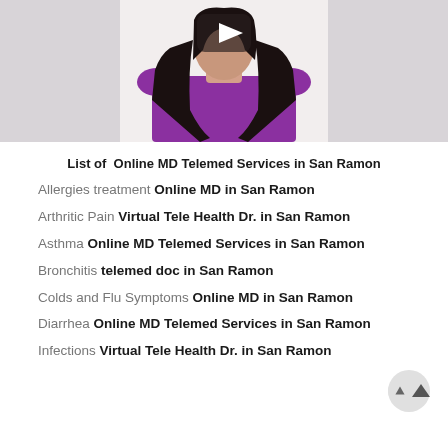[Figure (photo): Video thumbnail showing a woman in a purple top with long dark hair, with a play button overlay]
List of  Online MD Telemed Services in San Ramon
Allergies treatment Online MD in San Ramon
Arthritic Pain Virtual Tele Health Dr. in San Ramon
Asthma Online MD Telemed Services in San Ramon
Bronchitis telemed doc in San Ramon
Colds and Flu Symptoms Online MD in San Ramon
Diarrhea Online MD Telemed Services in San Ramon
Infections Virtual Tele Health Dr. in San Ramon